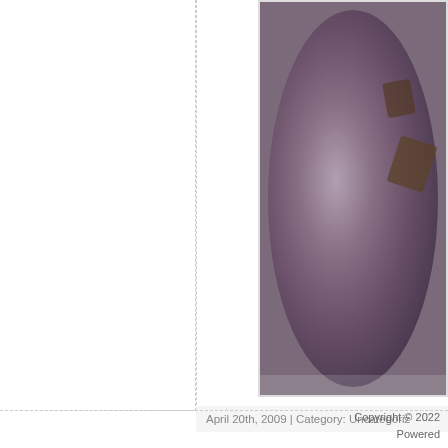[Figure (photo): A food photo showing what appears to be a circular dish, possibly ice cream or a dessert with toppings, viewed from above. The image is partially cropped, showing the round plate/dish on a white background.]
April 20th, 2009 | Category: Uncategoriz
Leave a Reply
You must be logged in to post a com
Copyright © 2022 Powered